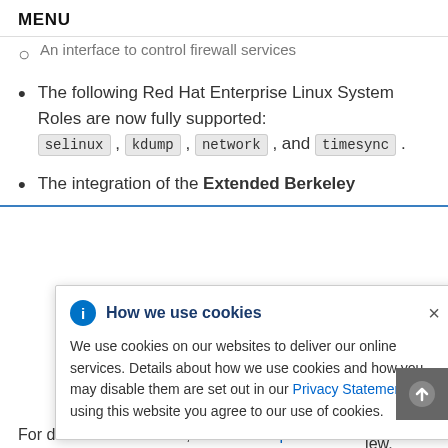MENU
An interface to control firewall services
The following Red Hat Enterprise Linux System Roles are now fully supported: selinux, kdump, network, and timesync.
The integration of the Extended Berkeley … fer, more … activity … ole … nd … The eBPF … iew.
[Figure (infographic): Cookie consent modal overlay with blue info icon, title 'How we use cookies', close X button, and body text about cookie usage with a Privacy Statement link]
For detailed information, refer to Chapter 10…